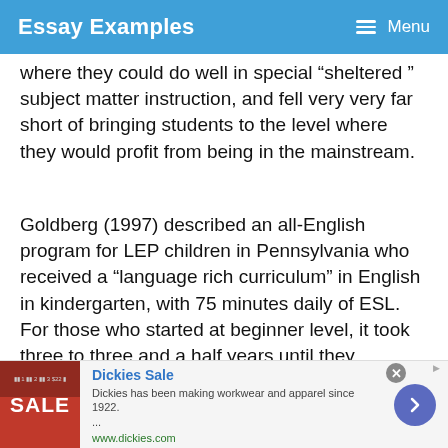Essay Examples   Menu
where they could do well in special “sheltered ” subject matter instruction, and fell very very far short of bringing students to the level where they would profit from being in the mainstream.
Goldberg (1997) described an all-English program for LEP children in Pennsylvania who received a “language rich curriculum” in English in kindergarten, with 75 minutes daily of ESL. For those who started at beginner level, it took three to three and a half years until they reached the level in which they are able to “understand main
[Figure (other): Advertisement banner for Dickies Sale. Shows a red SALE image on the left, text reading 'Dickies Sale - Dickies has been making workwear and apparel since 1922. ... www.dickies.com', a blue circular arrow button, and a close (x) button.]